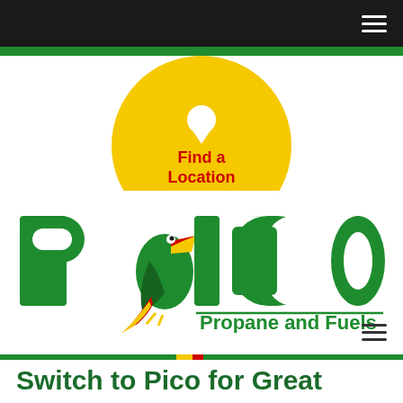Navigation bar with hamburger menu
[Figure (logo): Yellow circle button with white map pin icon and red text 'Find a Location']
[Figure (logo): PICO Propane and Fuels logo in green with toucan bird graphic replacing the letter I]
Switch to Pico for Great Prices, Reliable Deli...